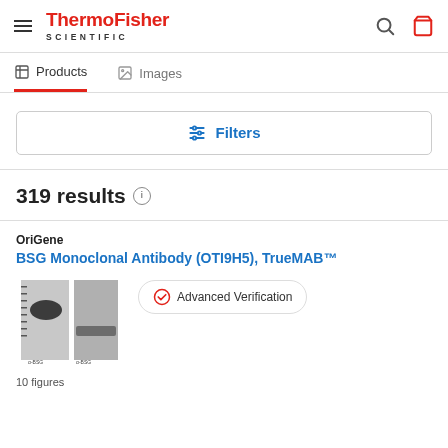ThermoFisher SCIENTIFIC
Products | Images
Filters
319 results
OriGene
BSG Monoclonal Antibody (OTI9H5), TrueMAB™
[Figure (photo): Western blot image showing two lanes with protein bands, molecular weight markers on left side]
Advanced Verification
10 figures